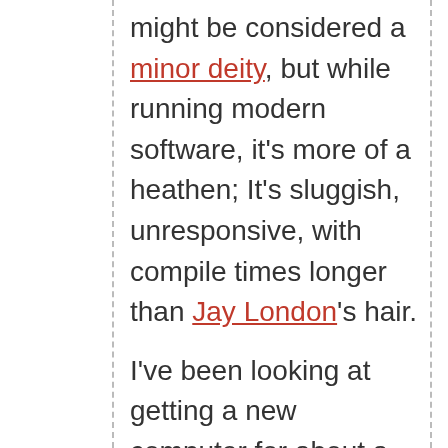might be considered a minor deity, but while running modern software, it's more of a heathen; It's sluggish, unresponsive, with compile times longer than Jay London's hair.
I've been looking at getting a new computer for about a year now, and I finally found one for the right price, so I'm